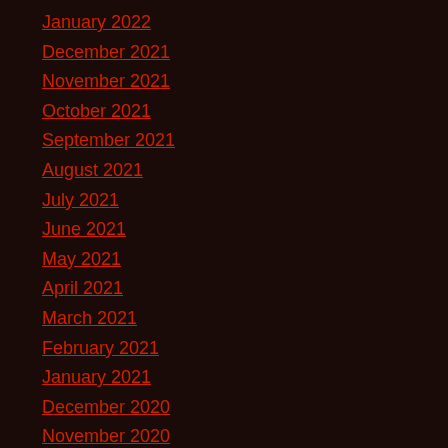January 2022
December 2021
November 2021
October 2021
September 2021
August 2021
July 2021
June 2021
May 2021
April 2021
March 2021
February 2021
January 2021
December 2020
November 2020